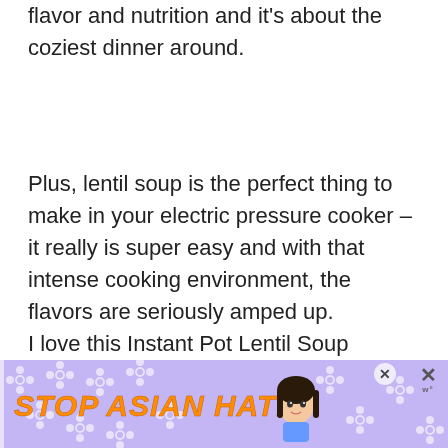flavor and nutrition and it’s about the coziest dinner around.
Plus, lentil soup is the perfect thing to make in your electric pressure cooker – it really is super easy and with that intense cooking environment, the flavors are seriously amped up.
I love this Instant Pot Lentil Soup recipe, especially for the winter months. Add a crusty slice of bread and it’s the perfect fast, easy, and satisfying winter weeknight meal.
[Figure (infographic): Advertisement banner with lavender/purple background, white flower pattern overlay, bold orange italic text reading 'STOP ASIAN HATE', cartoon girl character, and close buttons]